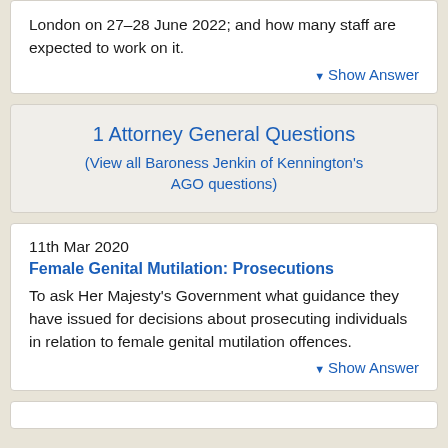London on 27–28 June 2022; and how many staff are expected to work on it.
▼ Show Answer
1 Attorney General Questions
(View all Baroness Jenkin of Kennington's AGO questions)
11th Mar 2020
Female Genital Mutilation: Prosecutions
To ask Her Majesty's Government what guidance they have issued for decisions about prosecuting individuals in relation to female genital mutilation offences.
▼ Show Answer